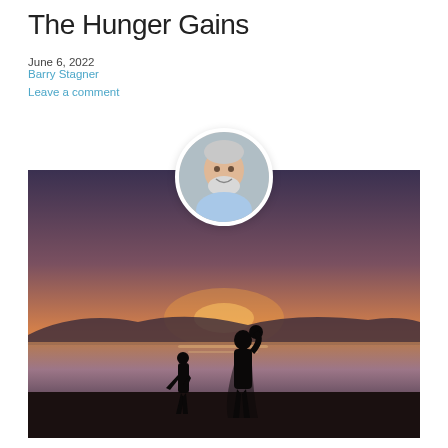The Hunger Gains
June 6, 2022
Barry Stagner
Leave a comment
[Figure (photo): Circular avatar photo of Barry Stagner, a smiling older man with white beard wearing a light blue shirt, overlapping the top edge of a larger landscape photo showing silhouettes of a woman holding a baby and a young child standing at a beach/lakeside at sunset with orange and purple sky and mountains in background.]